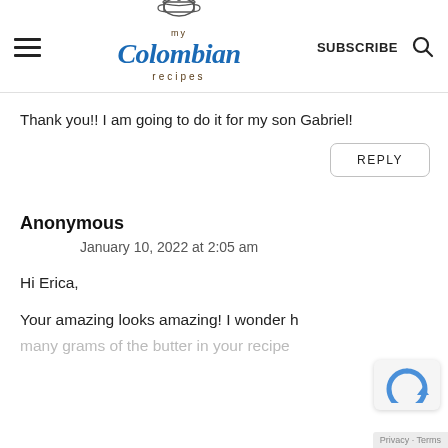my Colombian recipes — SUBSCRIBE
Thank you!! I am going to do it for my son Gabriel!
REPLY
Anonymous
January 10, 2022 at 2:05 am
Hi Erica,
Your amazing looks amazing! I wonder h many grams of the butter in your recipe